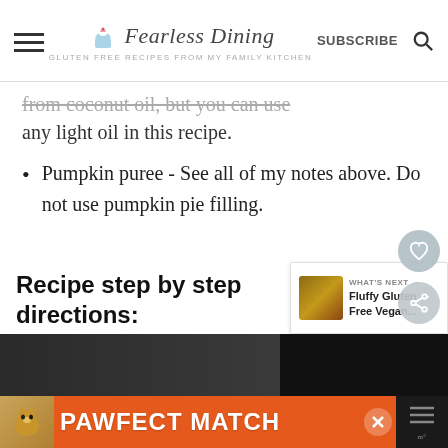Fearless Dining — GLUTEN FREE RECIPES FROM MY FAMILY KITCHEN — SUBSCRIBE
from coconut oil, but you can use any light oil in this recipe.
Pumpkin puree - See all of my notes above. Do not use pumpkin pie filling.
Recipe step by step directions:
[Figure (screenshot): What's Next callout box with muffin thumbnail and text: Fluffy Gluten Free Vegan...]
[Figure (photo): Bottom strip showing a food photo and an advertisement banner reading PAWFECT MATCH with a cat image]